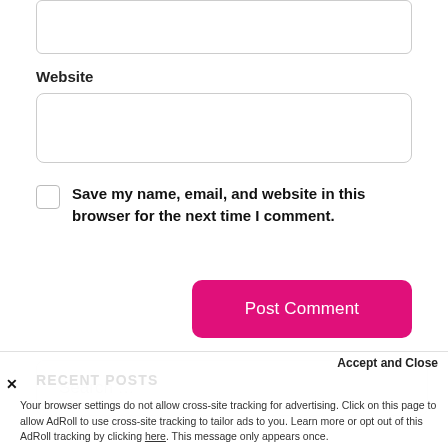[Figure (screenshot): Empty text input box at top of form]
Website
[Figure (screenshot): Empty website URL input box]
Save my name, email, and website in this browser for the next time I comment.
[Figure (screenshot): Post Comment button (pink/magenta rounded rectangle)]
[Figure (screenshot): Search ... input box]
RECENT POSTS
Accept and Close
Your browser settings do not allow cross-site tracking for advertising. Click on this page to allow AdRoll to use cross-site tracking to tailor ads to you. Learn more or opt out of this AdRoll tracking by clicking here. This message only appears once.